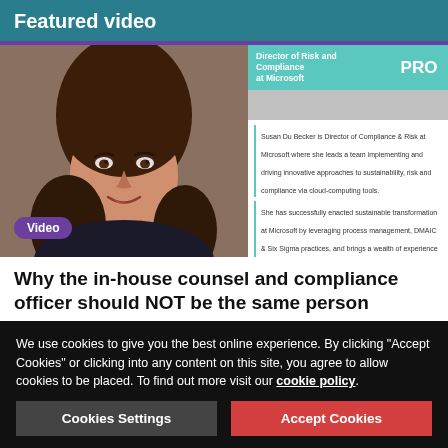Featured video
[Figure (photo): Screenshot of a video player showing a woman with brown hair smiling, with a profile card overlay showing 'Director of Risk and Compliance at Microsoft' and a PRO badge, plus bio text about Susan Du Becker]
Why the in-house counsel and compliance officer should NOT be the same person
4m 6s
We use cookies to give you the best online experience. By clicking "Accept Cookies" or clicking into any content on this site, you agree to allow cookies to be placed. To find out more visit our cookie policy.
Cookies Settings
Accept Cookies